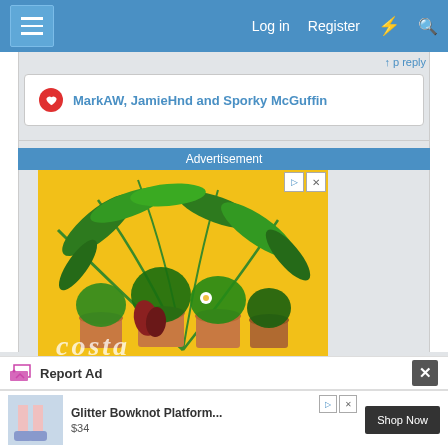Log in  Register
MarkAW, JamieHnd and Sporky McGuffin
Advertisement
[Figure (photo): Tropical houseplants arranged in terracotta pots against a bright yellow background. Advertisement image for Costa.]
Report Ad
Glitter Bowknot Platform... $34  Shop Now